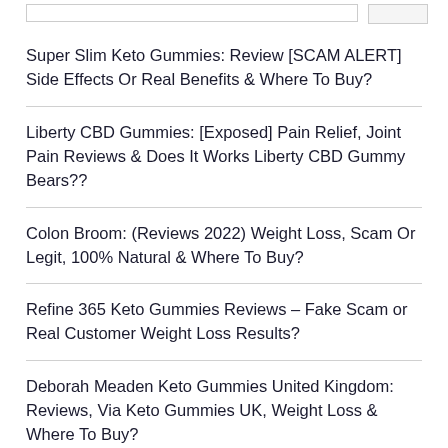Super Slim Keto Gummies: Review [SCAM ALERT] Side Effects Or Real Benefits & Where To Buy?
Liberty CBD Gummies: [Exposed] Pain Relief, Joint Pain Reviews & Does It Works Liberty CBD Gummy Bears??
Colon Broom: (Reviews 2022) Weight Loss, Scam Or Legit, 100% Natural & Where To Buy?
Refine 365 Keto Gummies Reviews – Fake Scam or Real Customer Weight Loss Results?
Deborah Meaden Keto Gummies United Kingdom: Reviews, Via Keto Gummies UK, Weight Loss & Where To Buy?